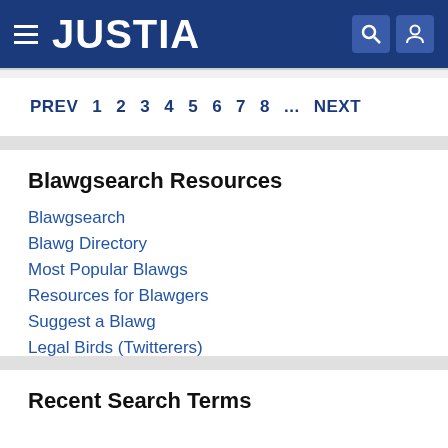JUSTIA
PREV  1  2  3  4  5  6  7  8  ...  NEXT
Blawgsearch Resources
Blawgsearch
Blawg Directory
Most Popular Blawgs
Resources for Blawgers
Suggest a Blawg
Legal Birds (Twitterers)
Recent Search Terms